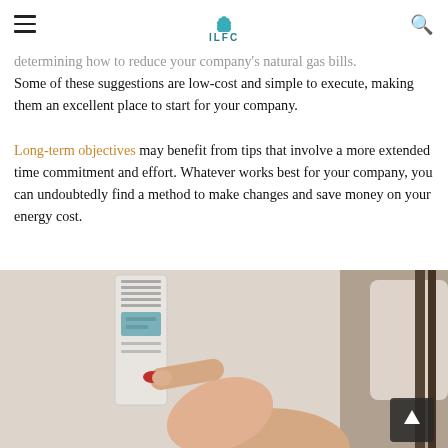ILFC
determining how to reduce your company's natural gas bills. Some of these suggestions are low-cost and simple to execute, making them an excellent place to start for your company.

Long-term objectives may benefit from tips that involve a more extended time commitment and effort. Whatever works best for your company, you can undoubtedly find a method to make changes and save money on your energy cost.
[Figure (photo): A hand with red fingernails pressing a finger against a wall-mounted thermostat control panel]